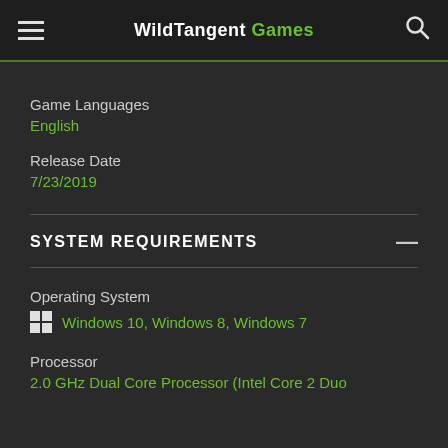WildTangent Games
Game Languages
English
Release Date
7/23/2019
SYSTEM REQUIREMENTS
Operating System
Windows 10, Windows 8, Windows 7
Processor
2.0 GHz Dual Core Processor (Intel Core 2 Duo